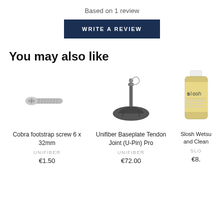Based on 1 review
WRITE A REVIEW
You may also like
[Figure (photo): Cobra footstrap screw 6 x 32mm product photo]
Cobra footstrap screw 6 x 32mm
UNIFIBER
€1.50
[Figure (photo): Unifiber Baseplate Tendon Joint (U-Pin) Pro product photo]
Unifiber Baseplate Tendon Joint (U-Pin) Pro
UNIFIBER
€72.00
[Figure (photo): Slosh Wetsuit and Clean product bottle photo, partially cropped]
Slosh Wetsu and Clean
SLO
€8.